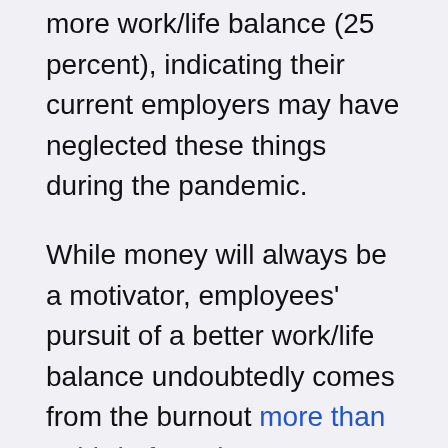more work/life balance (25 percent), indicating their current employers may have neglected these things during the pandemic.
While money will always be a motivator, employees' pursuit of a better work/life balance undoubtedly comes from the burnout more than a third of employees currently feel, according to a report from MetLife. Additionally, employees are concerned that managers doubt their productivity while working from home, leading to a large number of employees spending more hours online. In fact, more than 40 percent of employees are working longer hours simply to negate the illusion of being unproductive,